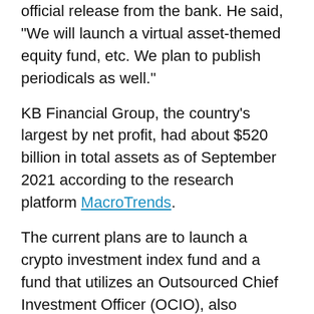official release from the bank. He said, "We will launch a virtual asset-themed equity fund, etc. We plan to publish periodicals as well."
KB Financial Group, the country's largest by net profit, had about $520 billion in total assets as of September 2021 according to the research platform MacroTrends.
The current plans are to launch a crypto investment index fund and a fund that utilizes an Outsourced Chief Investment Officer (OCIO), also referred to as outsourced investment management, in order to provide guarantees on principal investments. The OCIO fund may also be used in retirement pensions.
Such OCIO that may be considered includes